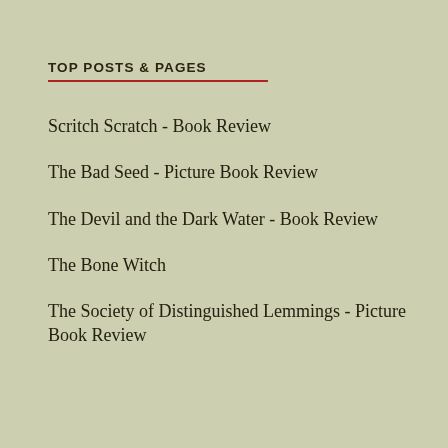TOP POSTS & PAGES
Scritch Scratch - Book Review
The Bad Seed - Picture Book Review
The Devil and the Dark Water - Book Review
The Bone Witch
The Society of Distinguished Lemmings - Picture Book Review